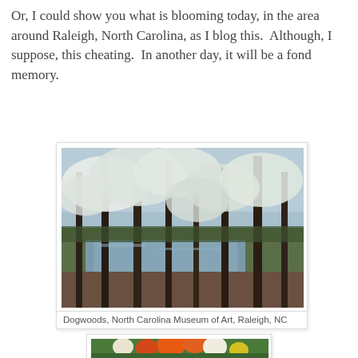Or, I could show you what is blooming today, in the area around Raleigh, North Carolina, as I blog this.  Although, I suppose, this cheating.  In another day, it will be a fond memory.
[Figure (photo): Photo of dogwood trees in bloom near a pond at the North Carolina Museum of Art, Raleigh, NC. Trees with white blossoms visible against a grey sky, dark trunks, water in background.]
Dogwoods, North Carolina Museum of Art, Raleigh, NC
[Figure (photo): Photo of colorful tulips including orange, white, and yellow blooms in a garden bed with mulch.]